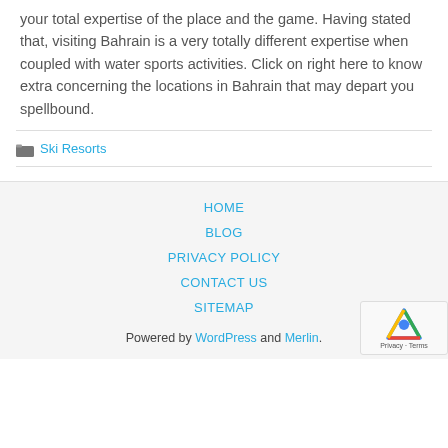your total expertise of the place and the game. Having stated that, visiting Bahrain is a very totally different expertise when coupled with water sports activities. Click on right here to know extra concerning the locations in Bahrain that may depart you spellbound.
Ski Resorts
HOME
BLOG
PRIVACY POLICY
CONTACT US
SITEMAP
Powered by WordPress and Merlin.